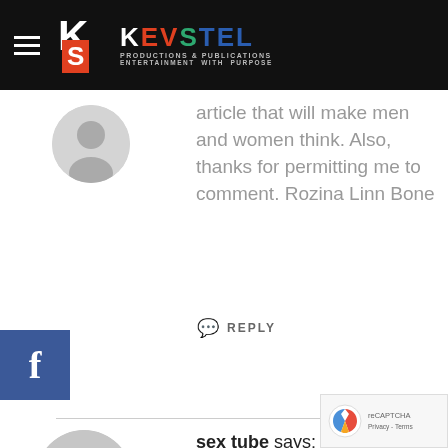KEVSTEL PRODUCTIONS & PUBLICATIONS ENTERTAINMENT WITH PURPOSE
article that will make men and women think. Also, thanks for permitting me to comment. Rozina Linn Bone
REPLY
sex tube says:
January 21, 2021 at 2:46 pm
You made a few nice points there. I did a sear on the topic and found majority of folks will go